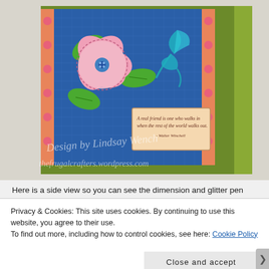[Figure (photo): A handmade greeting card photographed from a side angle. The card features a large pink flower with green leaves, a teal dragonfly made of ribbon, pink gem embellishments along the border on an orange strip, a blue textured background, and a green card base. A small tag reads 'A real friend is one who walks in when the rest of the world walks out. Walter Winchell'. Watermark text reads 'Design by Lindsay Wench thefrugalcrafters.wordpress.com'.]
Here is a side view so you can see the dimension and glitter pen
Privacy & Cookies: This site uses cookies. By continuing to use this website, you agree to their use.
To find out more, including how to control cookies, see here: Cookie Policy
Close and accept